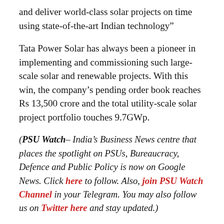and deliver world-class solar projects on time using state-of-the-art Indian technology”
Tata Power Solar has always been a pioneer in implementing and commissioning such large-scale solar and renewable projects. With this win, the company’s pending order book reaches Rs 13,500 crore and the total utility-scale solar project portfolio touches 9.7GWp.
(​PSU Watch– India’s Business News centre that places the spotlight on PSUs, Bureaucracy, Defence and Public Policy is now on Google News. Click here to follow. Also, join PSU Watch Channel in your Telegram. You may also follow us on Twitter here and stay updated.)